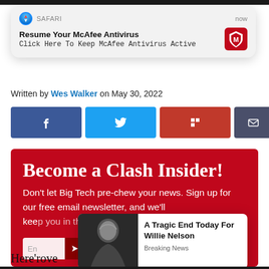[Figure (screenshot): Safari notification overlay: 'Resume Your McAfee Antivirus - Click Here To Keep McAfee Antivirus Active' with McAfee logo, timestamped 'now']
Written by Wes Walker on May 30, 2022
[Figure (infographic): Social share buttons: Facebook, Twitter, Flipboard, Email, Print]
[Figure (infographic): Red subscription box: 'Become a Clash Insider! Don't let Big Tech pre-chew your news. Sign up for our free email newsletter, and we'll keep you in the loop.']
[Figure (screenshot): Popup ad with photo of elderly man and headline 'A Tragic End Today For Willie Nelson' tagged 'Breaking News']
Here'...rove